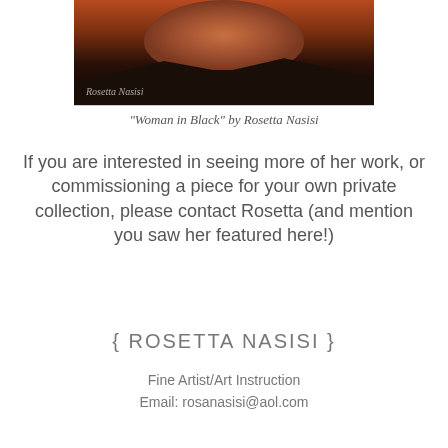[Figure (photo): Cropped photo of a woman's neck and shoulders wearing a black garment, with an orange-red background. Watermark reads 'Rosetta Nasisi'.]
“Woman in Black” by Rosetta Nasisi
If you are interested in seeing more of her work, or commissioning a piece for your own private collection, please contact Rosetta (and mention you saw her featured here!)
{ ROSETTA NASISI }
Fine Artist/Art Instruction
Email: rosanasisi@aol.com